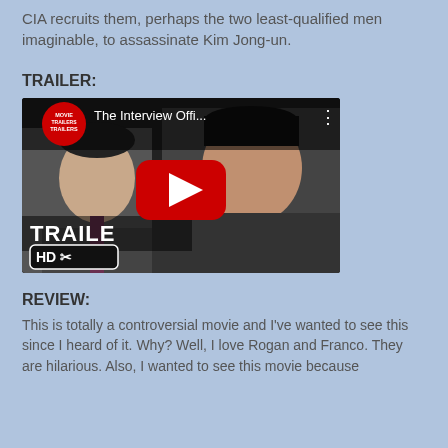CIA recruits them, perhaps the two least-qualified men imaginable, to assassinate Kim Jong-un.
TRAILER:
[Figure (screenshot): YouTube thumbnail for 'The Interview Offi...' trailer showing two men from the movie with a YouTube play button overlay, 'TRAILER' and 'HD' text overlaid, and a Movie Trailers channel badge in the top-left corner.]
REVIEW:
This is totally a controversial movie and I've wanted to see this since I heard of it. Why? Well, I love Rogan and Franco. They are hilarious. Also, I wanted to see this movie because